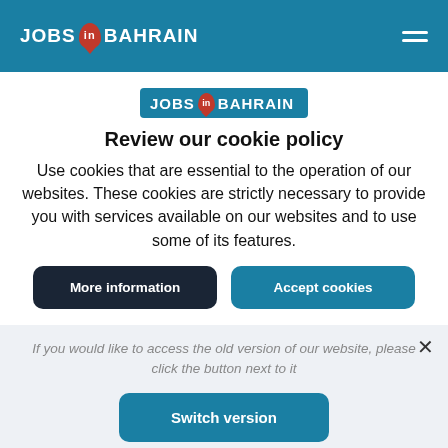JOBS IN BAHRAIN
[Figure (logo): Jobs in Bahrain logo with map pin icon, blue background]
Review our cookie policy
Use cookies that are essential to the operation of our websites. These cookies are strictly necessary to provide you with services available on our websites and to use some of its features.
More information | Accept cookies
If you would like to access the old version of our website, please click the button next to it
Switch version